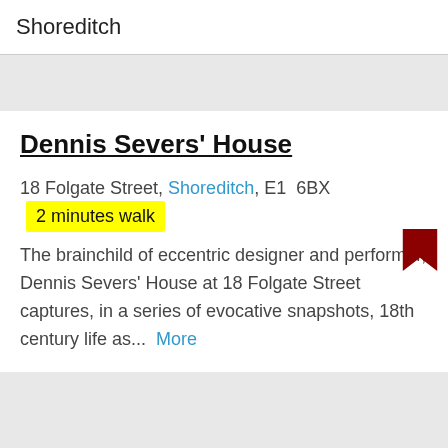Shoreditch
Dennis Severs' House
18 Folgate Street, Shoreditch, E1 6BX  2 minutes walk
The brainchild of eccentric designer and performer, Dennis Severs' House at 18 Folgate Street captures, in a series of evocative snapshots, 18th century life as...  More